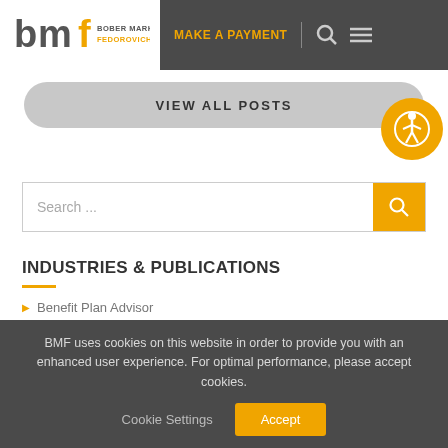[Figure (logo): BMF Bober Markey Fedorovich logo with orange and gray lettering]
MAKE A PAYMENT
VIEW ALL POSTS
[Figure (illustration): Orange circular accessibility/wheelchair icon button]
Search ...
INDUSTRIES & PUBLICATIONS
Benefit Plan Advisor
BMF uses cookies on this website in order to provide you with an enhanced user experience. For optimal performance, please accept cookies.
Cookie Settings
Accept